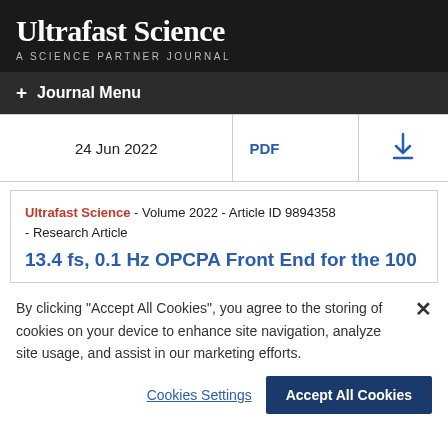Ultrafast Science - A SCIENCE PARTNER JOURNAL
+ Journal Menu
| Date | Format | Download |
| --- | --- | --- |
| 24 Jun 2022 | PDF | ↓ |
Ultrafast Science - Volume 2022 - Article ID 9894358 - Research Article
13.4 fs, 0.1 Hz OPCPA Front End for the 100
By clicking "Accept All Cookies", you agree to the storing of cookies on your device to enhance site navigation, analyze site usage, and assist in our marketing efforts.
Cookies Settings   Accept All Cookies